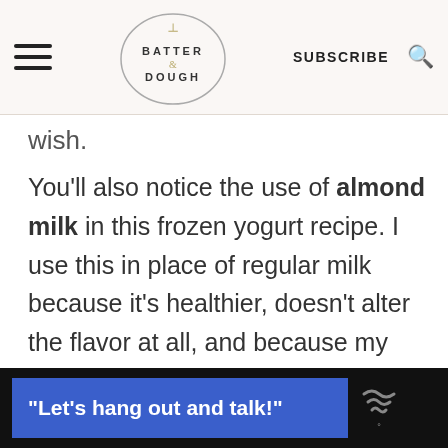Batter & Dough — SUBSCRIBE
wish.
You'll also notice the use of almond milk in this frozen yogurt recipe. I use this in place of regular milk because it's healthier, doesn't alter the flavor at all, and because my husband is lactose intolerant. But, if you'd rather user regular milk, go right ahead.
[Figure (screenshot): Ad banner at bottom: dark background with blue rectangle containing white bold text "Let's hang out and talk!" and a small logo on the right]